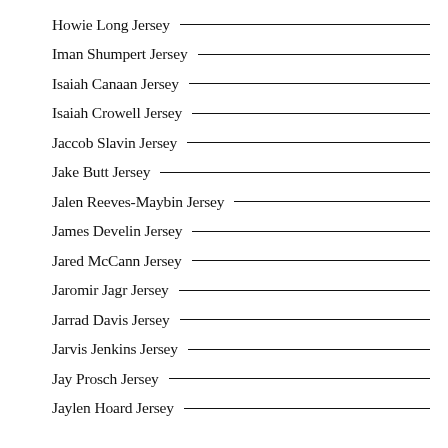Howie Long Jersey
Iman Shumpert Jersey
Isaiah Canaan Jersey
Isaiah Crowell Jersey
Jaccob Slavin Jersey
Jake Butt Jersey
Jalen Reeves-Maybin Jersey
James Develin Jersey
Jared McCann Jersey
Jaromir Jagr Jersey
Jarrad Davis Jersey
Jarvis Jenkins Jersey
Jay Prosch Jersey
Jaylen Hoard Jersey